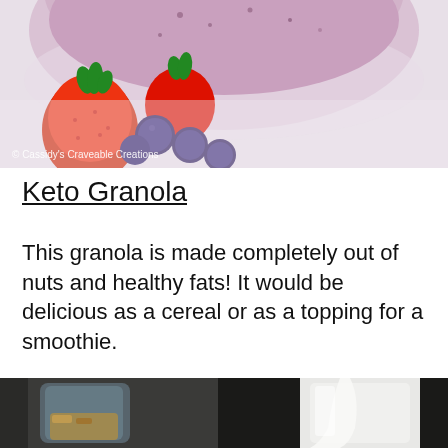[Figure (photo): A bowl of pink/purple smoothie with strawberries and blueberries in front, watermark reading '© Cassidy's Craveable Creations']
Keto Granola
This granola is made completely out of nuts and healthy fats! It would be delicious as a cereal or as a topping for a smoothie.
[Figure (photo): A photo showing a glass jar with granola and cream/milk being poured from a white pitcher]